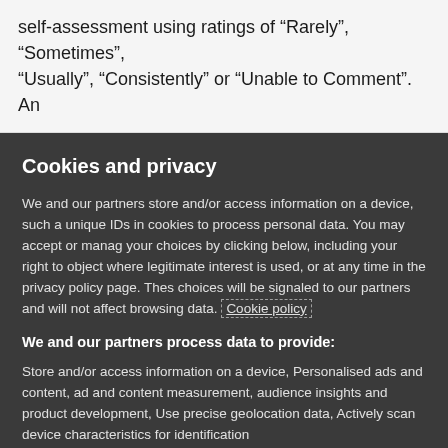self-assessment using ratings of “Rarely”, “Sometimes”, “Usually”, “Consistently” or “Unable to Comment”. An
Cookies and privacy
We and our partners store and/or access information on a device, such as unique IDs in cookies to process personal data. You may accept or manage your choices by clicking below, including your right to object where legitimate interest is used, or at any time in the privacy policy page. These choices will be signaled to our partners and will not affect browsing data. Cookie policy
We and our partners process data to provide:
Store and/or access information on a device, Personalised ads and content, ad and content measurement, audience insights and product development, Use precise geolocation data, Actively scan device characteristics for identification
List of Partners (vendors)
I Accept